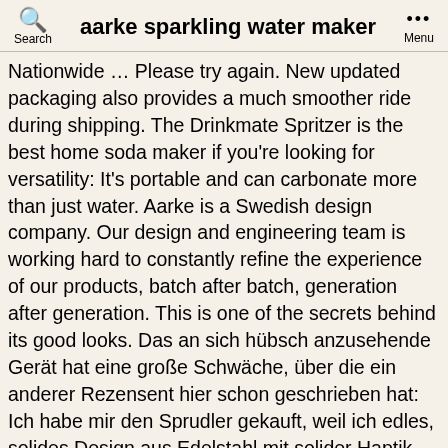aarke sparkling water maker
Nationwide … Please try again. New updated packaging also provides a much smoother ride during shipping. The Drinkmate Spritzer is the best home soda maker if you're looking for versatility: It's portable and can carbonate more than just water. Aarke is a Swedish design company. Our design and engineering team is working hard to constantly refine the experience of our products, batch after batch, generation after generation. This is one of the secrets behind its good looks. Das an sich hübsch anzusehende Gerät hat eine große Schwäche, über die ein anderer Rezensent hier schon geschrieben hat: Ich habe mir den Sprudler gekauft, weil ich edles, solides Design aus Edelstahl mit solider Haptik erwartet habe. Refined Forget Our Recommended Best Sparkling Water Maker Is The Aarke Carbonator II! Only 9% are recycled. One Aarke water bottle can replace thousands of single use plastic bottles. The Aarke sparkling water maker is designed from the inside and out to become extremely compact. 3 BUYING OPTIONS 1. SodaStream Crystal